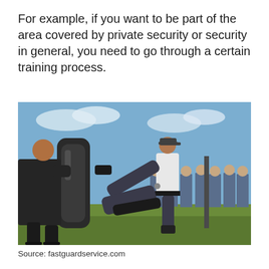For example, if you want to be part of the area covered by private security or security in general, you need to go through a certain training process.
[Figure (photo): Security personnel training outdoors on a grass field. One officer in a white shirt and cap performs a high kick against a large padded shield held by another person in dark clothing. Several uniformed officers watch in the background under a partly cloudy sky.]
Source: fastguardservice.com